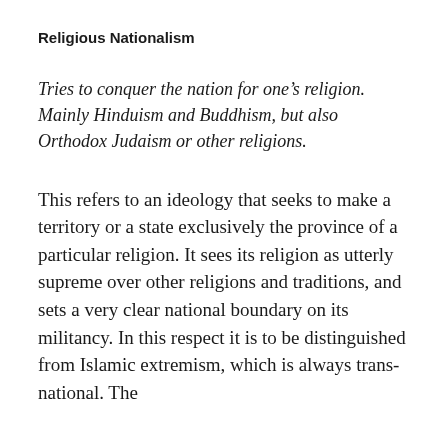Religious Nationalism
Tries to conquer the nation for one’s religion. Mainly Hinduism and Buddhism, but also Orthodox Judaism or other religions.
This refers to an ideology that seeks to make a territory or a state exclusively the province of a particular religion. It sees its religion as utterly supreme over other religions and traditions, and sets a very clear national boundary on its militancy. In this respect it is to be distinguished from Islamic extremism, which is always trans-national. The